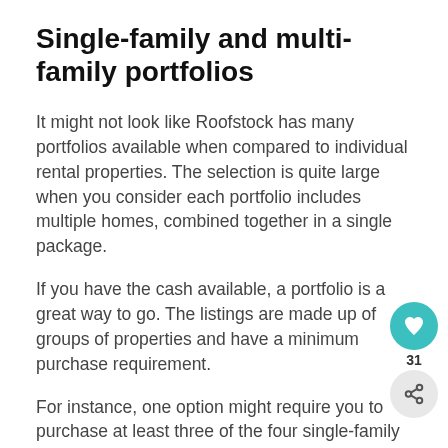Single-family and multi-family portfolios
It might not look like Roofstock has many portfolios available when compared to individual rental properties. The selection is quite large when you consider each portfolio includes multiple homes, combined together in a single package.
If you have the cash available, a portfolio is a great way to go. The listings are made up of groups of properties and have a minimum purchase requirement.
For instance, one option might require you to purchase at least three of the four single-family homes included in the listing. Larger portfolios can have over 100 homes, and you may need to buy all of them at once.